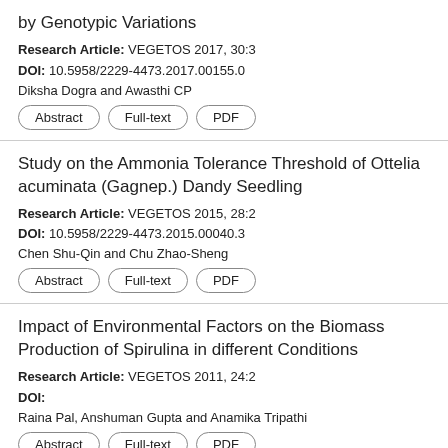by Genotypic Variations
Research Article: VEGETOS 2017, 30:3
DOI: 10.5958/2229-4473.2017.00155.0
Diksha Dogra and Awasthi CP
Abstract  Full-text  PDF
Study on the Ammonia Tolerance Threshold of Ottelia acuminata (Gagnep.) Dandy Seedling
Research Article: VEGETOS 2015, 28:2
DOI: 10.5958/2229-4473.2015.00040.3
Chen Shu-Qin and Chu Zhao-Sheng
Abstract  Full-text  PDF
Impact of Environmental Factors on the Biomass Production of Spirulina in different Conditions
Research Article: VEGETOS 2011, 24:2
DOI:
Raina Pal, Anshuman Gupta and Anamika Tripathi
Abstract  Full-text  PDF